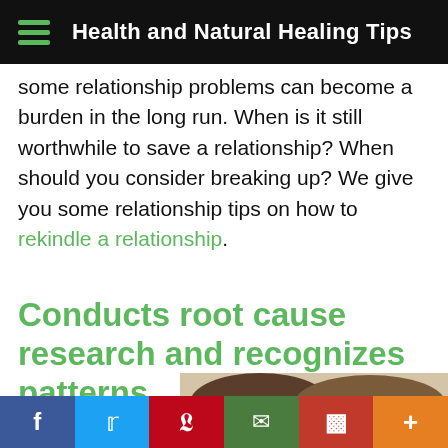Health and Natural Healing Tips
some relationship problems can become a burden in the long run. When is it still worthwhile to save a relationship? When should you consider breaking up? We give you some relationship tips on how to rekindle a relationship.
Conducts root cause research and recognizes patterns
[Figure (photo): Photo of two people (heads visible) appearing to hide or crouch, partially cropped at bottom of page]
f  Twitter  Pinterest  Email  Flipboard  +